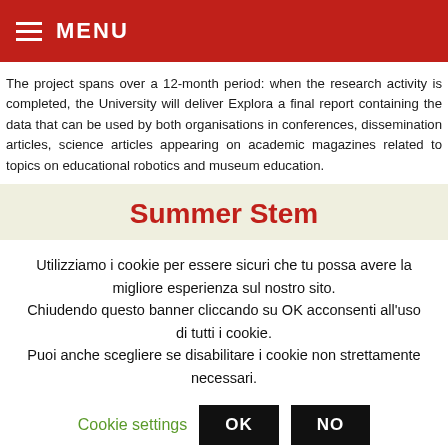MENU
The project spans over a 12-month period: when the research activity is completed, the University will deliver Explora a final report containing the data that can be used by both organisations in conferences, dissemination articles, science articles appearing on academic magazines related to topics on educational robotics and museum education.
Summer Stem
Utilizziamo i cookie per essere sicuri che tu possa avere la migliore esperienza sul nostro sito. Chiudendo questo banner cliccando su OK acconsenti all'uso di tutti i cookie. Puoi anche scegliere se disabilitare i cookie non strettamente necessari.
Cookie settings  OK  NO